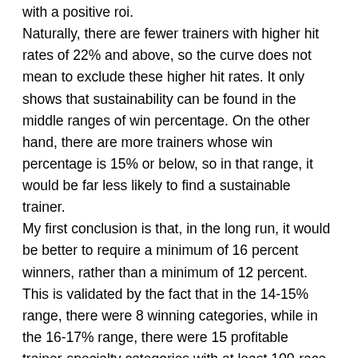with a positive roi. Naturally, there are fewer trainers with higher hit rates of 22% and above, so the curve does not mean to exclude these higher hit rates. It only shows that sustainability can be found in the middle ranges of win percentage. On the other hand, there are more trainers whose win percentage is 15% or below, so in that range, it would be far less likely to find a sustainable trainer. My first conclusion is that, in the long run, it would be better to require a minimum of 16 percent winners, rather than a minimum of 12 percent. This is validated by the fact that in the 14-15% range, there were 8 winning categories, while in the 16-17% range, there were 15 profitable trainer-specialty categories with at least 100-race samples. If you break it down by individual percentage, the curve is still there but it's uneven. For example, there were slightly fewer profitable categories between 18-19 percent than between 16-